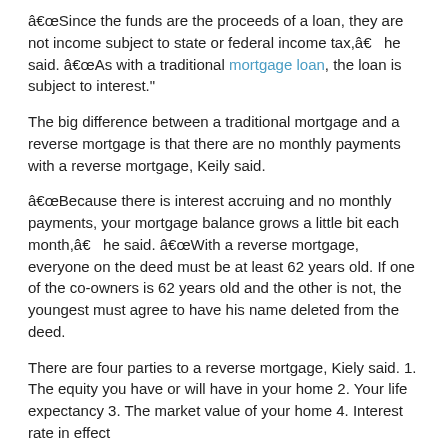“Since the funds are the proceeds of a loan, they are not income subject to state or federal income tax,â€ he said. “As with a traditional mortgage loan, the loan is subject to interest.”
The big difference between a traditional mortgage and a reverse mortgage is that there are no monthly payments with a reverse mortgage, Keily said.
“Because there is interest accruing and no monthly payments, your mortgage balance grows a little bit each month,â€ he said. “With a reverse mortgage, everyone on the deed must be at least 62 years old. If one of the co-owners is 62 years old and the other is not, the youngest must agree to have his name deleted from the deed.
There are four parties to a reverse mortgage, Kiely said. 1. The equity you have or will have in your home 2. Your life expectancy 3. The market value of your home 4. Interest rate in effect
He recommends that you sit down and have a conversation with a banker who deals with reverse mortgages.